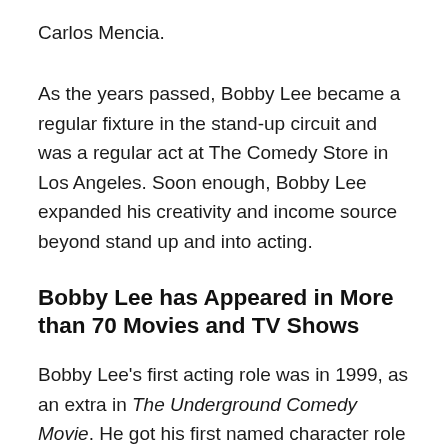Carlos Mencia.
As the years passed, Bobby Lee became a regular fixture in the stand-up circuit and was a regular act at The Comedy Store in Los Angeles. Soon enough, Bobby Lee expanded his creativity and income source beyond stand up and into acting.
Bobby Lee has Appeared in More than 70 Movies and TV Shows
Bobby Lee's first acting role was in 1999, as an extra in The Underground Comedy Movie. He got his first named character role in 2001, in the TV movie, Unreal TV. His progress continued with roles in Pauly Shore Is Dead, American Misfits, and Harold &